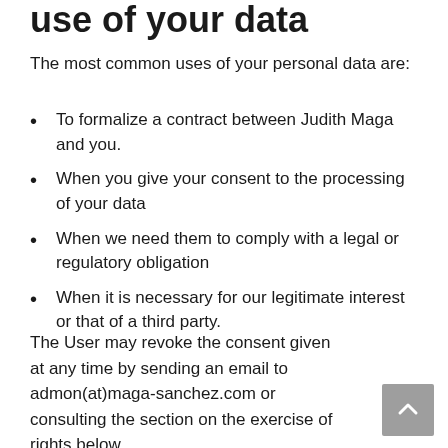use of your data
The most common uses of your personal data are:
To formalize a contract between Judith Maga and you.
When you give your consent to the processing of your data
When we need them to comply with a legal or regulatory obligation
When it is necessary for our legitimate interest or that of a third party.
The User may revoke the consent given at any time by sending an email to admon(at)maga-sanchez.com or consulting the section on the exercise of rights below.